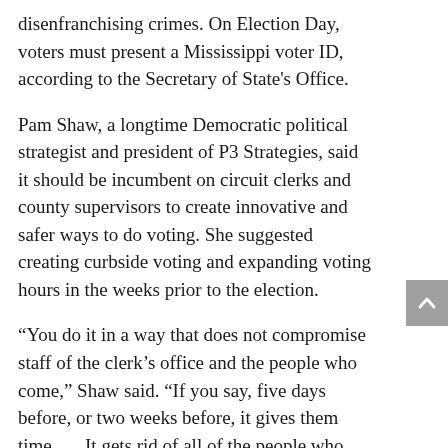disenfranchising crimes. On Election Day, voters must present a Mississippi voter ID, according to the Secretary of State's Office.
Pam Shaw, a longtime Democratic political strategist and president of P3 Strategies, said it should be incumbent on circuit clerks and county supervisors to create innovative and safer ways to do voting. She suggested creating curbside voting and expanding voting hours in the weeks prior to the election.
“You do it in a way that does not compromise staff of the clerk’s office and the people who come,” Shaw said. “If you say, five days before, or two weeks before, it gives them time. … It gets rid of all of the people who may be hesitant and eases the burden you’re going to have on Election Day.”